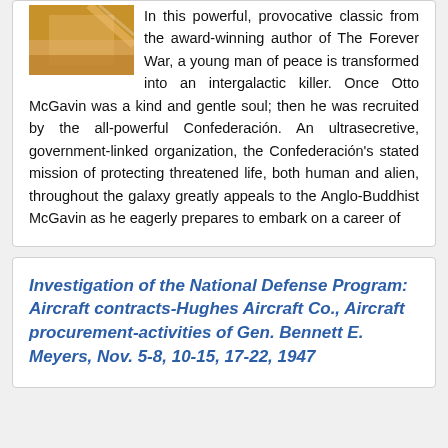[Figure (photo): Partial image of a book cover or similar, cropped at top-left of card]
In this powerful, provocative classic from the award-winning author of The Forever War, a young man of peace is transformed into an intergalactic killer. Once Otto McGavin was a kind and gentle soul; then he was recruited by the all-powerful Confederación. An ultrasecretive, government-linked organization, the Confederación's stated mission of protecting threatened life, both human and alien, throughout the galaxy greatly appeals to the Anglo-Buddhist McGavin as he eagerly prepares to embark on a career of
Investigation of the National Defense Program: Aircraft contracts-Hughes Aircraft Co., Aircraft procurement-activities of Gen. Bennett E. Meyers, Nov. 5-8, 10-15, 17-22, 1947